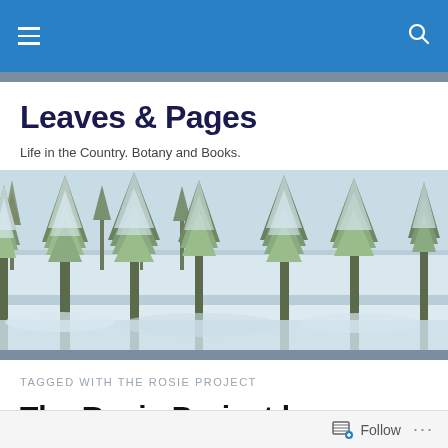Leaves & Pages — blog navigation bar
Leaves & Pages
Life in the Country. Botany and Books.
[Figure (photo): Winter landscape with snow-covered evergreen trees and a frozen lake or field in the background, under a pale overcast sky.]
TAGGED WITH THE ROSIE PROJECT
The Rosie Project by Graeme Simsion
Follow